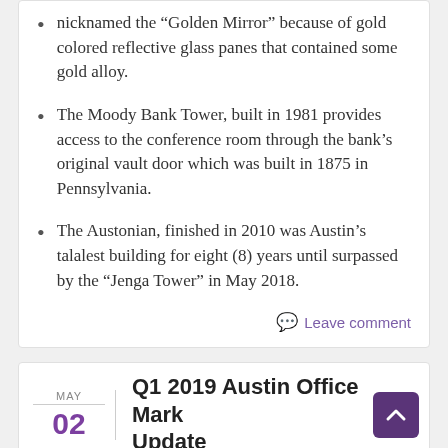nicknamed the “Golden Mirror” because of gold colored reflective glass panes that contained some gold alloy.
The Moody Bank Tower, built in 1981 provides access to the conference room through the bank’s original vault door which was built in 1875 in Pennsylvania.
The Austonian, finished in 2010 was Austin’s talalest building for eight (8) years until surpassed by the “Jenga Tower” in May 2018.
Leave comment
Q1 2019 Austin Office Market Update